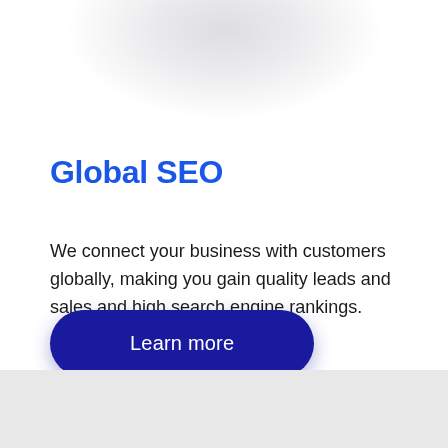Global SEO
We connect your business with customers globally, making you gain quality leads and sales and high search engine rankings.
Learn more